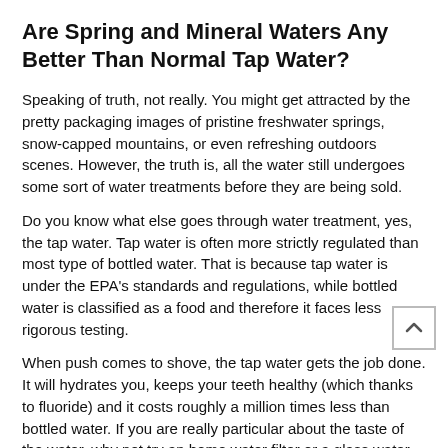Are Spring and Mineral Waters Any Better Than Normal Tap Water?
Speaking of truth, not really. You might get attracted by the pretty packaging images of pristine freshwater springs, snow-capped mountains, or even refreshing outdoors scenes. However, the truth is, all the water still undergoes some sort of water treatments before they are being sold.
Do you know what else goes through water treatment, yes, the tap water. Tap water is often more strictly regulated than most type of bottled water. That is because tap water is under the EPA's standards and regulations, while bottled water is classified as a food and therefore it faces less rigorous testing.
When push comes to shove, the tap water gets the job done. It will hydrates you, keeps your teeth healthy (which thanks to fluoride) and it costs roughly a million times less than bottled water. If you are really particular about the taste of the water, why not try an home water filter or a glass water bottle?
This one-two punch ensures that your water tastes the way you prefer, since glass drinking bottles are taste-neutral. Plus, these